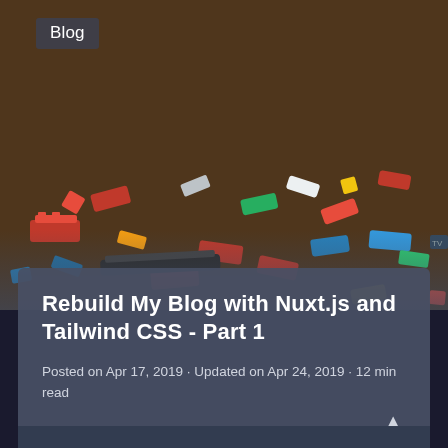[Figure (photo): Overhead photo of colorful LEGO bricks scattered on a wooden floor.]
Blog
Rebuild My Blog with Nuxt.js and Tailwind CSS - Part 1
Posted on Apr 17, 2019 · Updated on Apr 24, 2019 · 12 min read